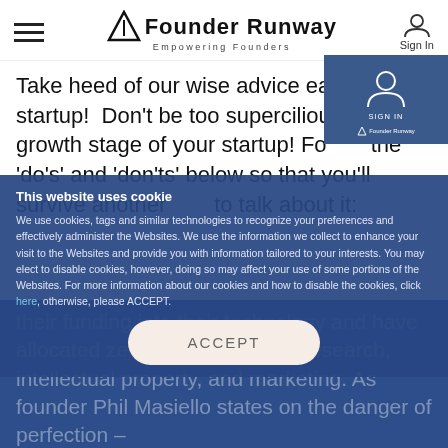Founder Runway — Empowering Founders
Take heed of our wise advice early-stage startup! Don't be too supercilious in the growth stage of your startup! Follow the 'do's' and 'don'ts' below so that you'll survive another day to talk about it:
This website uses cookie
We use cookies, tags and similar technologies to recognize your preferences and effectively administer the Websites. We use the information we collect to enhance your visit to the Websites and provide you with information tailored to your interests. You may elect to disable cookies, however, doing so may affect your use of some portions of the Websites. For more information about our cookies and how to disable the cookies, click here, otherwise, please ACCEPT.
ACCEPT
"...shy away from wasting time, energy, and resources trying